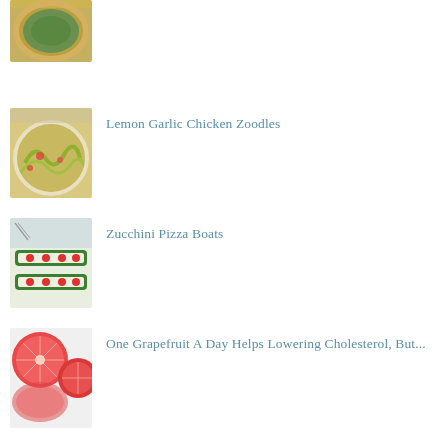[Figure (photo): Quiche or spinach tart with golden crust, partially visible at top of page]
[Figure (photo): Lemon Garlic Chicken Zoodles - pasta dish with zucchini noodles]
Lemon Garlic Chicken Zoodles
[Figure (photo): Zucchini Pizza Boats - stuffed zucchini halves with cheese and toppings]
Zucchini Pizza Boats
[Figure (photo): Grapefruit slices cut in half showing red/pink flesh]
One Grapefruit A Day Helps Lowering Cholesterol, But...